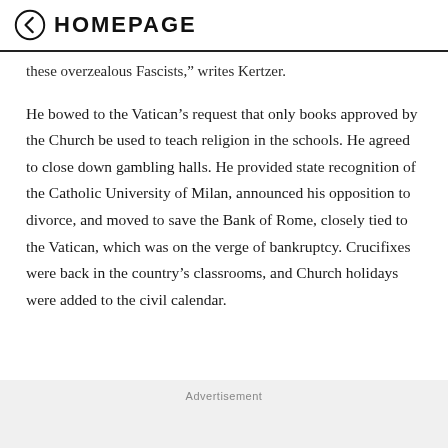HOMEPAGE
these overzealous Fascists," writes Kertzer.
He bowed to the Vatican’s request that only books approved by the Church be used to teach religion in the schools. He agreed to close down gambling halls. He provided state recognition of the Catholic University of Milan, announced his opposition to divorce, and moved to save the Bank of Rome, closely tied to the Vatican, which was on the verge of bankruptcy. Crucifixes were back in the country’s classrooms, and Church holidays were added to the civil calendar.
Advertisement